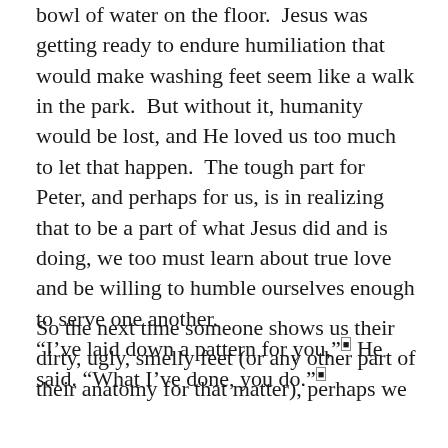bowl of water on the floor.  Jesus was getting ready to endure humiliation that would make washing feet seem like a walk in the park.  But without it, humanity would be lost, and He loved us too much to let that happen.  The tough part for Peter, and perhaps for us, is in realizing that to be a part of what Jesus did and is doing, we too must learn about true love and be willing to humble ourselves enough to serve one another.
“I’ve laid down a pattern for you,” He said. “What I’ve done, you do.”
So the next time someone shows us their dirty, ugly, smelly feet (or any other part of their anatomy for that matter), perhaps we